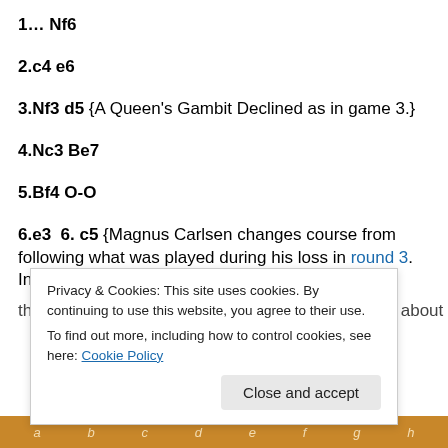1… Nf6
2.c4 e6
3.Nf3 d5 {A Queen's Gambit Declined as in game 3.}
4.Nc3 Be7
5.Bf4 O-O
6.e3  6. c5 {Magnus Carlsen changes course from following what was played during his loss in round 3. In
[truncated text]
Privacy & Cookies: This site uses cookies. By continuing to use this website, you agree to their use.
To find out more, including how to control cookies, see here: Cookie Policy
Close and accept
[Figure (other): Chessboard bottom bar showing file labels a b c d e f g h]